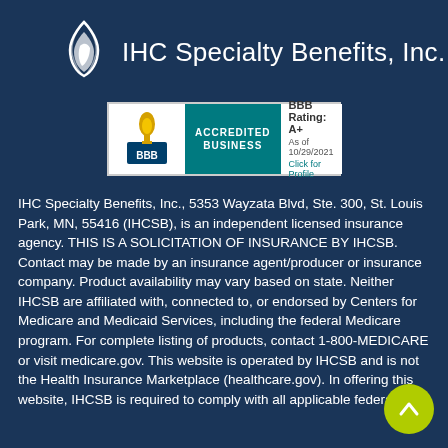[Figure (logo): IHC Specialty Benefits, Inc. logo with flame/leaf icon and company name in white text on dark blue background]
[Figure (logo): BBB Accredited Business badge showing rating A+ as of 10/29/2021 with Click for Profile link]
IHC Specialty Benefits, Inc., 5353 Wayzata Blvd, Ste. 300, St. Louis Park, MN, 55416 (IHCSB), is an independent licensed insurance agency. THIS IS A SOLICITATION OF INSURANCE BY IHCSB. Contact may be made by an insurance agent/producer or insurance company. Product availability may vary based on state. Neither IHCSB are affiliated with, connected to, or endorsed by Centers for Medicare and Medicaid Services, including the federal Medicare program. For complete listing of products, contact 1-800-MEDICARE or visit medicare.gov. This website is operated by IHCSB and is not the Health Insurance Marketplace (healthcare.gov). In offering this website, IHCSB is required to comply with all applicable federal law.